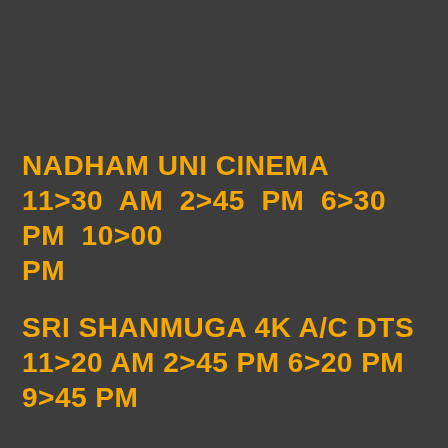NADHAM UNI CINEMA
11>30  AM  2>45  PM  6>30  PM  10>00 PM
SRI SHANMUGA 4K A/C DTS
11>20 AM 2>45 PM 6>20 PM 9>45 PM